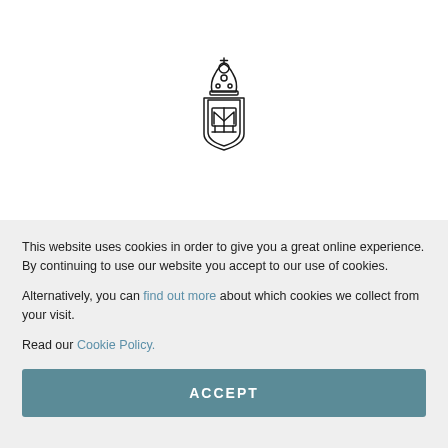[Figure (logo): University crest/coat of arms logo — a shield with architectural details topped by a mitre-like crown with a cross, rendered as a line art emblem]
This website uses cookies in order to give you a great online experience. By continuing to use our website you accept to our use of cookies.
Alternatively, you can find out more about which cookies we collect from your visit.
Read our Cookie Policy.
ACCEPT